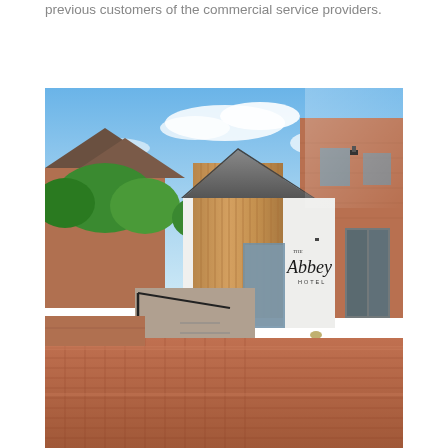previous customers of the commercial service providers.
[Figure (photo): Exterior photograph of The Abbey Hotel, showing a modern wooden-clad gabled entrance extension with white rendered walls displaying 'The Abbey Hotel' signage, brick paving in the foreground with raised planters, black metal railings, and surrounding brick buildings under a blue sky.]